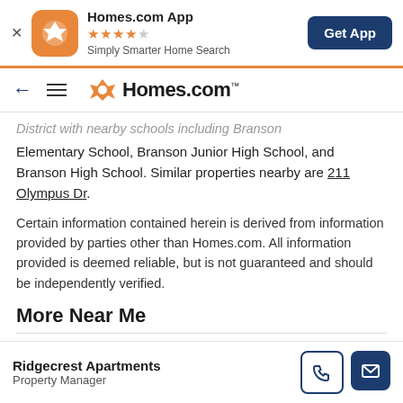[Figure (screenshot): Homes.com app banner with orange icon, 4.5 star rating, tagline 'Simply Smarter Home Search', and 'Get App' button]
[Figure (logo): Homes.com navigation bar with back arrow, hamburger menu, and Homes.com logo]
District with nearby schools including Branson Elementary School, Branson Junior High School, and Branson High School. Similar properties nearby are 211 Olympus Dr.
Certain information contained herein is derived from information provided by parties other than Homes.com. All information provided is deemed reliable, but is not guaranteed and should be independently verified.
More Near Me
Homes For Sale in Branson   Homes For Rent in Branson
Ridgecrest Apartments
Property Manager